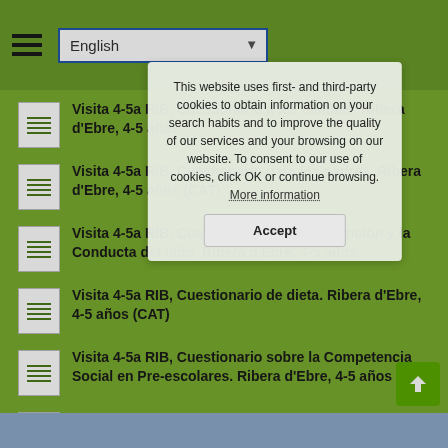English
This website uses first- and third-party cookies to obtain information on your search habits and to improve the quality of our services and your browsing on our website. To consent to our use of cookies, click OK or continue browsing. More information
Visita 4-5a RIB, Cuestionario a les families. Ribera d'Ebre, 4-5 años
Visita 4-5a RIB, Cuestionario para los padres. Ribera d'Ebre, 4-5 años (CAT)
Visita 4-5a RIB, Cuestionario sobre la Atención y la Conducta del niño. Ribera d'Ebre, 4-5 años
Visita 4-5a RIB, Cuestionario de dieta. Ribera d'Ebre, 4-5 años (CAT)
Visita 4-5a RIB, Cuestionario sobre la Competencia Social en Pre-escolares. Ribera d'Ebre, 4-5 años
Visita Embarazo RIB, Consentimiento genético. Ribera d'Ebre, embarazo (madre)